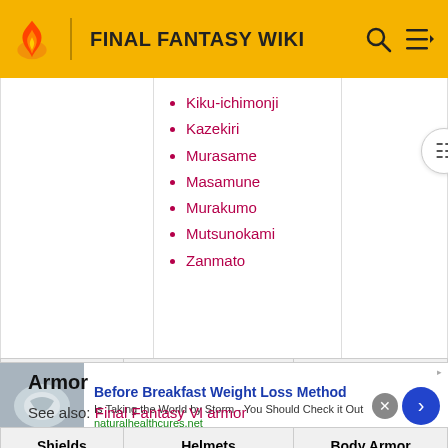FINAL FANTASY WIKI
Kiku-ichimonji
Kazekiri
Murasame
Masamune
Murakumo
Mutsunokami
Zanmato
Armor
See also: Final Fantasy VI armor
| Shields | Helmets | Body Armor |
| --- | --- | --- |
| Buckler | Leather Cap | Leather |
[Figure (other): Advertisement banner: Before Breakfast Weight Loss Method]